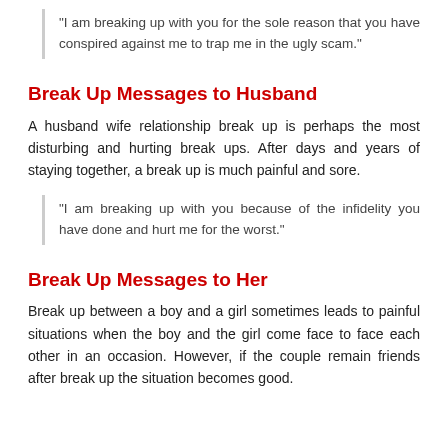“I am breaking up with you for the sole reason that you have conspired against me to trap me in the ugly scam.”
Break Up Messages to Husband
A husband wife relationship break up is perhaps the most disturbing and hurting break ups. After days and years of staying together, a break up is much painful and sore.
“I am breaking up with you because of the infidelity you have done and hurt me for the worst.”
Break Up Messages to Her
Break up between a boy and a girl sometimes leads to painful situations when the boy and the girl come face to face each other in an occasion. However, if the couple remain friends after break up the situation becomes good.